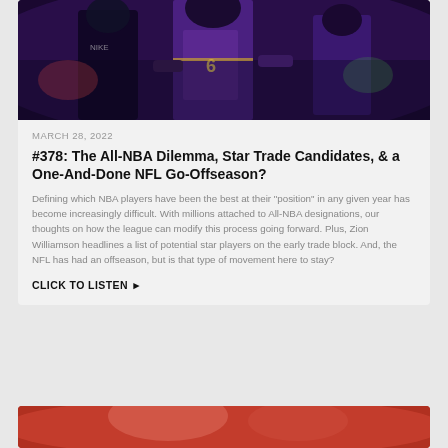[Figure (photo): NBA players in purple Los Angeles Lakers uniforms on a basketball court, partially cropped at top]
MARCH 28, 2022
#378: The All-NBA Dilemma, Star Trade Candidates, & a One-And-Done NFL Go-Offseason?
Defining which NBA players have been the best at their "position" in any given year has become increasingly difficult. With millions attached to All-NBA designations, our thoughts on how the league can modify this process going forward. Plus, Zion Williamson headlines a list of potential star players on the early trade block. And, the NFL has had an offseason, but is that type of movement here to stay?
CLICK TO LISTEN ▶
[Figure (photo): Partially visible sports photo at bottom of page, cropped]